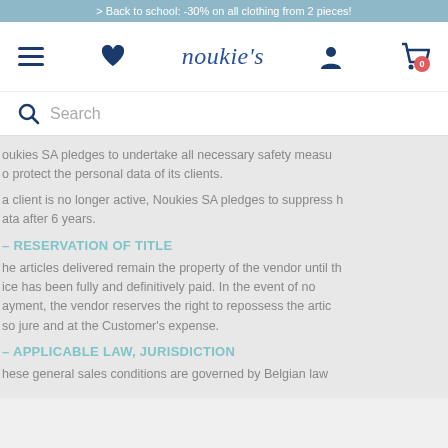> Back to school: -30% on all clothing from 2 pieces!
[Figure (screenshot): Noukie's website navigation bar with hamburger menu, heart icon, logo, user icon, and shopping cart with 0 items badge]
[Figure (screenshot): Search bar with magnifying glass icon and Search placeholder text]
oukies SA pledges to undertake all necessary safety measures to protect the personal data of its clients.
a client is no longer active, Noukies SA pledges to suppress his data after 6 years.
– RESERVATION OF TITLE
he articles delivered remain the property of the vendor until the price has been fully and definitively paid. In the event of non-payment, the vendor reserves the right to repossess the articles jure and at the Customer's expense.
– APPLICABLE LAW, JURISDICTION
hese general sales conditions are governed by Belgian law